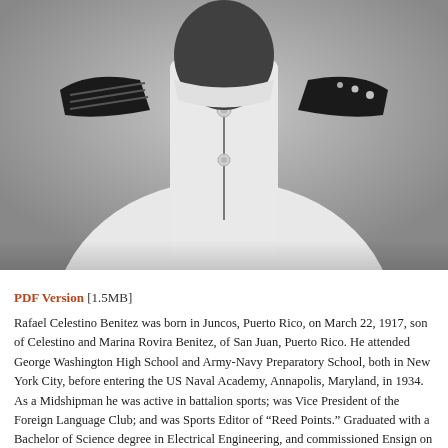[Figure (photo): Black and white photograph showing the upper torso and collar area of a person in a white military naval uniform with epaulettes on the shoulders. The face is not visible, cropped just below the chin.]
PDF Version [1.5MB]
Rafael Celestino Benitez was born in Juncos, Puerto Rico, on March 22, 1917, son of Celestino and Marina Rovira Benitez, of San Juan, Puerto Rico. He attended George Washington High School and Army-Navy Preparatory School, both in New York City, before entering the US Naval Academy, Annapolis, Maryland, in 1934. As a Midshipman he was active in battalion sports; was Vice President of the Foreign Language Club; and was Sports Editor of “Reed Points.” Graduated with a Bachelor of Science degree in Electrical Engineering, and commissioned Ensign on June 1